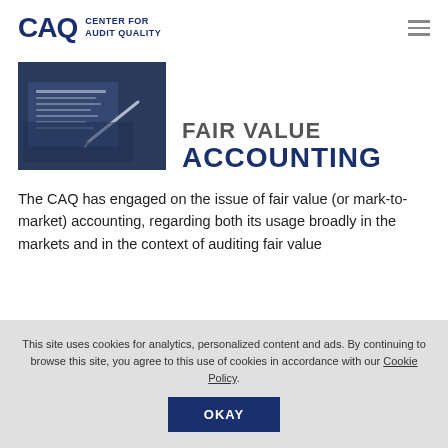CAQ CENTER FOR AUDIT QUALITY
[Figure (photo): A dark blue-tinted photo showing financial documents and a pen on a desk, suggesting an accounting or audit context.]
FAIR VALUE ACCOUNTING
The CAQ has engaged on the issue of fair value (or mark-to-market) accounting, regarding both its usage broadly in the markets and in the context of auditing fair value
This site uses cookies for analytics, personalized content and ads. By continuing to browse this site, you agree to this use of cookies in accordance with our Cookie Policy.